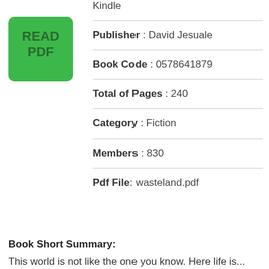[Figure (other): Green button with text READ PDF]
Kindle
Publisher : David Jesuale
Book Code : 0578641879
Total of Pages : 240
Category : Fiction
Members : 830
Pdf File: wasteland.pdf
Book Short Summary:
This world is not like the one you know. Here life is...